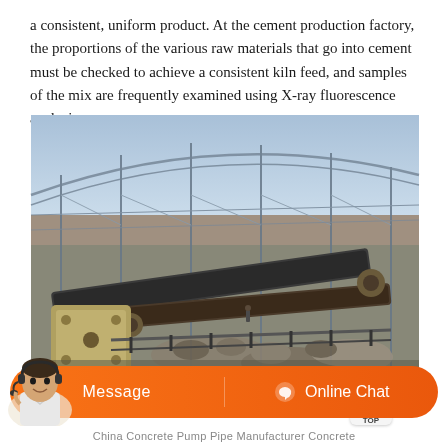a consistent, uniform product. At the cement production factory, the proportions of the various raw materials that go into cement must be checked to achieve a consistent kiln feed, and samples of the mix are frequently examined using X-ray fluorescence analysis.
[Figure (photo): Aerial view of a cement plant or quarry facility showing industrial conveyor belts, crushing machinery, and raw material stockpiles inside a large open steel-framed structure.]
China Concrete Pump Pipe Manufacturer Concrete